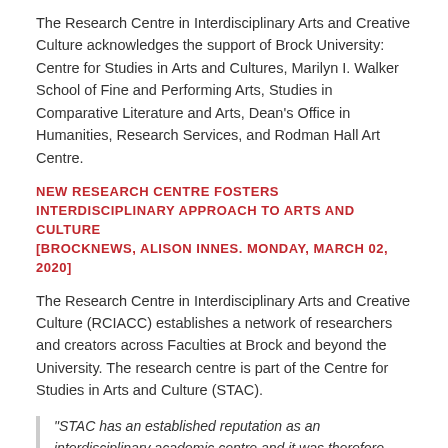The Research Centre in Interdisciplinary Arts and Creative Culture acknowledges the support of Brock University: Centre for Studies in Arts and Cultures, Marilyn I. Walker School of Fine and Performing Arts, Studies in Comparative Literature and Arts, Dean's Office in Humanities, Research Services, and Rodman Hall Art Centre.
NEW RESEARCH CENTRE FOSTERS INTERDISCIPLINARY APPROACH TO ARTS AND CULTURE [BROCKNEWS, ALISON INNES. MONDAY, MARCH 02, 2020]
The Research Centre in Interdisciplinary Arts and Creative Culture (RCIACC) establishes a network of researchers and creators across Faculties at Brock and beyond the University. The research centre is part of the Centre for Studies in Arts and Culture (STAC).
"STAC has an established reputation as an interdisciplinary academic centre and it was therefore logical to home an interdisciplinary research centre in the unit," says Associate Professor